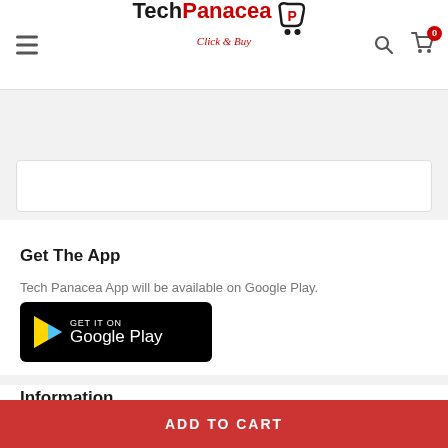Tech Panacea Click & Buy — navigation header with hamburger menu, search icon, and cart icon showing 0 items
[Figure (screenshot): Empty search input box with white background and light border]
Get The App
Tech Panacea App will be available on Google Play.
[Figure (logo): Google Play Store badge — black button with play triangle icon and text 'GET IT ON Google Play']
Information
About Us
ADD TO CART